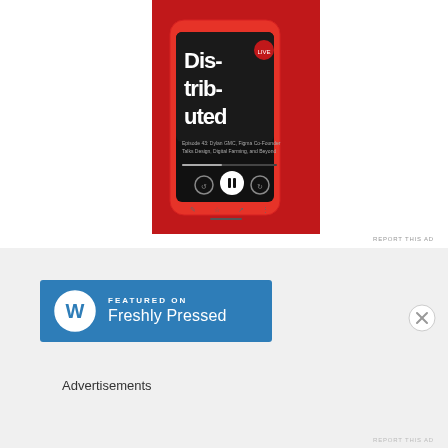[Figure (photo): A red smartphone (iPhone) on a red background displaying a podcast app playing an episode called 'Distributed'. The podcast artwork shows large bold white text reading 'Dis-trib-uted' on a dark background with playback controls visible.]
REPORT THIS AD
[Figure (logo): WordPress 'Featured on Freshly Pressed' badge. Blue rectangular badge with WordPress logo (W in a circle) on the left and text 'FEATURED ON Freshly Pressed' on the right in white.]
[Figure (other): Close/dismiss button (X in a circle) in gray]
Advertisements
REPORT THIS AD